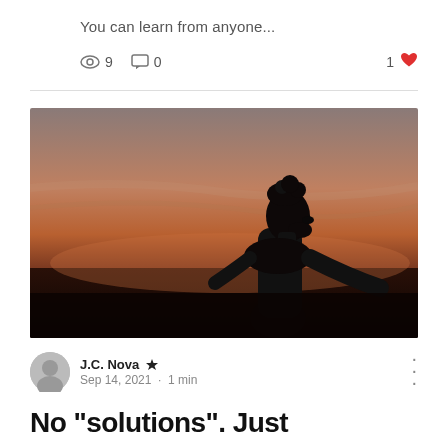You can learn from anyone...
9 views  0 comments  1 like
[Figure (photo): Silhouette of a person looking upward against a dramatic sunset sky with warm orange and dark tones]
J.C. Nova ♛
Sep 14, 2021 · 1 min
No "solutions". Just